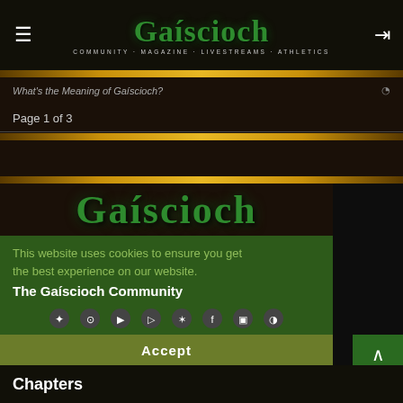Gaíscioch — COMMUNITY · MAGAZINE · LIVESTREAMS · ATHLETICS
What's the Meaning of Gaíscioch?
Page 1 of 3
[Figure (logo): Gaíscioch logo in green Celtic font]
This website uses cookies to ensure you get the best experience on our website.
Learn more
The Gaíscioch Community
Founded in 2001, the Gaíscioch serve as a home for players of all ages, skill levels and walks of life. We focus on creating epic memories and lasting friendships.
Accept
Chapters